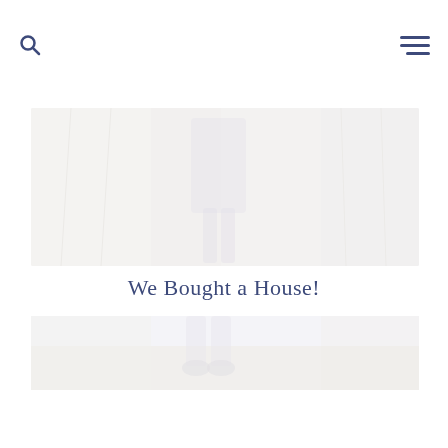[Figure (photo): Top portion of a faded photo showing a child standing indoors, wearing a light-colored dress, with curtains and furniture visible in the background. Image appears very light/washed out.]
We Bought a House!
[Figure (photo): Bottom portion of a faded photo showing a child's feet/legs standing on a wooden floor, image is very light/washed out.]